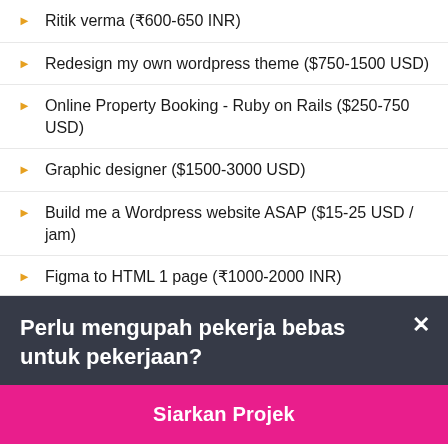Ritik verma (₹600-650 INR)
Redesign my own wordpress theme ($750-1500 USD)
Online Property Booking - Ruby on Rails ($250-750 USD)
Graphic designer ($1500-3000 USD)
Build me a Wordpress website ASAP ($15-25 USD / jam)
Figma to HTML 1 page (₹1000-2000 INR)
Business Card Design - Luxury Minimalist (2 Sided) PSD Format ($20 USD)
Perlu mengupah pekerja bebas untuk pekerjaan?
Siarkan Projek